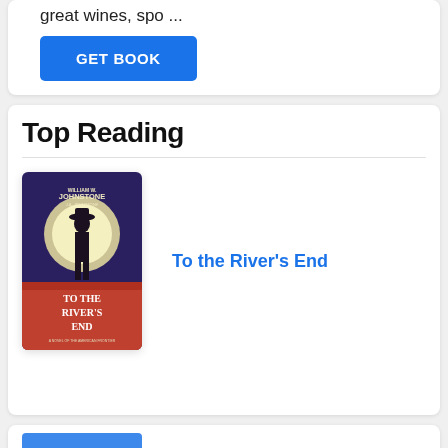great wines, spo ...
GET BOOK
Top Reading
[Figure (illustration): Book cover of 'To the River's End' by William W. Johnstone — a western novel showing a silhouetted cowboy figure against a moonlit background with red/orange landscape.]
To the River's End